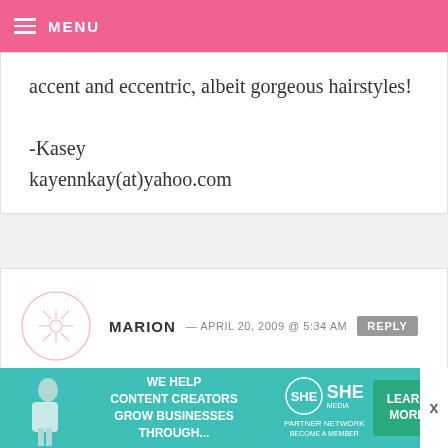MENU
accent and eccentric, albeit gorgeous hairstyles!

-Kasey
kayennkay(at)yahoo.com
MARION — APRIL 20, 2009 @ 5:34 AM  REPLY
I watched Paula so often when my daughter was a baby that she would start dancing whenever she heard the music! I love that she cooks with real
[Figure (infographic): SHE Media Partner Network advertisement banner with woman photo, text 'WE HELP CONTENT CREATORS GROW BUSINESSES THROUGH...' and LEARN MORE button]